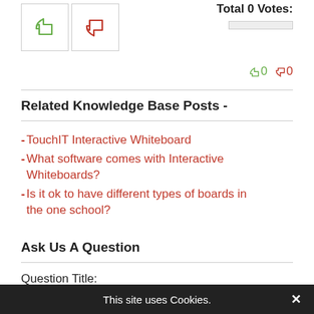[Figure (screenshot): Vote buttons: thumbs up (green) and thumbs down (red), with vote counts 0 and 0, and a progress bar]
Related Knowledge Base Posts -
TouchIT Interactive Whiteboard
What software comes with Interactive Whiteboards?
Is it ok to have different types of boards in the one school?
Ask Us A Question
Question Title:
This site uses Cookies.